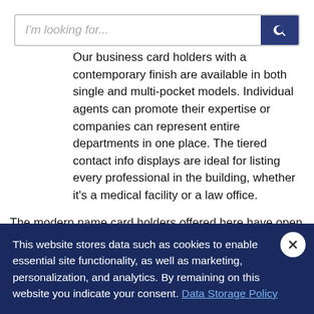Our business card holders with a contemporary finish are available in both single and multi-pocket models. Individual agents can promote their expertise or companies can represent entire departments in one place. The tiered contact info displays are ideal for listing every professional in the building, whether it's a medical facility or a law office.
The modern name card holders offered here have open designs that encourage people to take contact information. The countertop, wall mounted, and floor standing racks all have deep pockets for holding stacks of credentials. Each card holder pocket will hold 40 or more, requiring infrequent refills.
This website stores data such as cookies to enable essential site functionality, as well as marketing, personalization, and analytics. By remaining on this website you indicate your consent. Data Storage Policy